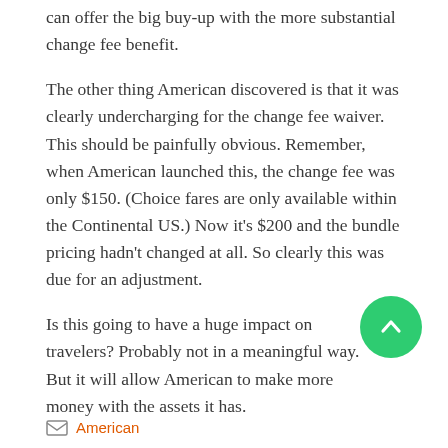can offer the big buy-up with the more substantial change fee benefit.
The other thing American discovered is that it was clearly undercharging for the change fee waiver. This should be painfully obvious. Remember, when American launched this, the change fee was only $150. (Choice fares are only available within the Continental US.) Now it's $200 and the bundle pricing hadn't changed at all. So clearly this was due for an adjustment.
Is this going to have a huge impact on travelers? Probably not in a meaningful way. But it will allow American to make more money with the assets it has.
American